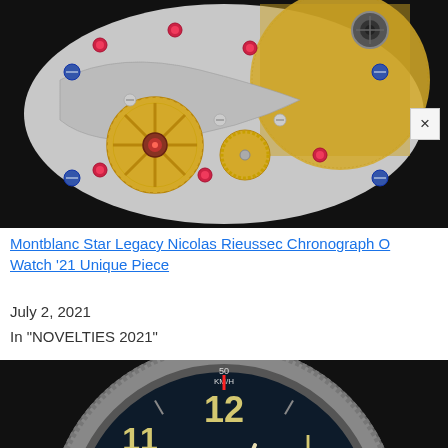[Figure (photo): Close-up macro photograph of a watch movement/mechanism showing gears, screws, jewels (rubies), blue screws, and gold-colored rotor components on a silver/grey plate background]
Montblanc Star Legacy Nicolas Rieussec Chronograph O Watch '21 Unique Piece
July 2, 2021
In "NOVELTIES 2021"
[Figure (photo): Close-up photograph of a Montblanc chronograph watch face with dark navy/black dial, gold-colored Arabic numerals (10, 11, 12, 2), white/cream hands, multiple sub-dials, tachymeter bezel, and steel crown visible on the right]